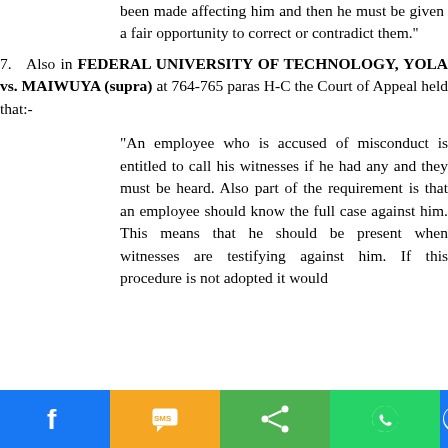been made affecting him and then he must be given a fair opportunity to correct or contradict them.''
7.  Also in FEDERAL UNIVERSITY OF TECHNOLOGY, YOLA vs. MAIWUYA (supra) at 764-765 paras H-C the Court of Appeal held that:-
"An employee who is accused of misconduct is entitled to call his witnesses if he had any and they must be heard. Also part of the requirement is that an employee should know the full case against him. This means that he should be present when witnesses are testifying against him. If this procedure is not adopted it would
[Figure (other): Social media sharing toolbar with Facebook, SMS, Share, WhatsApp, and Messenger buttons]